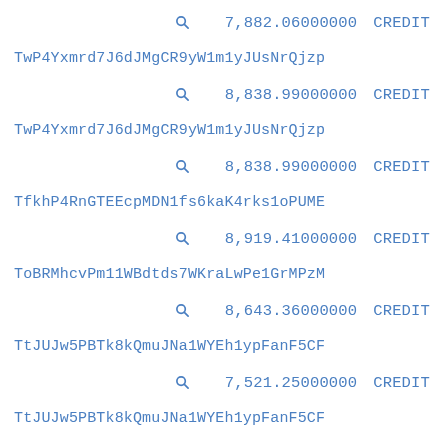🔍 7,882.06000000 CREDIT
TwP4Yxmrd7J6dJMgCR9yW1m1yJUsNrQjzp
🔍 8,838.99000000 CREDIT
TwP4Yxmrd7J6dJMgCR9yW1m1yJUsNrQjzp
🔍 8,838.99000000 CREDIT
TfkhP4RnGTEEcpMDN1fs6kaK4rks1oPUME
🔍 8,919.41000000 CREDIT
ToBRMhcvPm11WBdtds7WKraLwPe1GrMPzM
🔍 8,643.36000000 CREDIT
TtJUJw5PBTk8kQmuJNa1WYEh1ypFanF5CF
🔍 7,521.25000000 CREDIT
TtJUJw5PBTk8kQmuJNa1WYEh1ypFanF5CF
🔍 7,882.05000000 CREDIT
TwP4Yxmrd7J6dJMgCR9yW1m1yJUsNrQjzp
🔍 8,838.99000000 CREDIT
Tqwo1LFrp2b8E46rJ91dR6FKneNwdXSxvK
🔍 8,029.00000000 CREDIT
Ta1QYueyez4NwpBPas4z7xCXiBA6EbHrtC